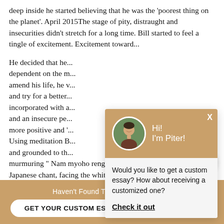deep inside he started believing that he was the 'poorest thing on the planet'. April 2015The stage of pity, distraught and insecurities didn't stretch for a long time. Bill started to feel a tingle of excitement. Excitement toward...
He decided that he... dependent on the m... amend his life, he v... and try for a better... incorporated with a... and an insecure pe... more positive and '... Using meditation B... and grounded to th... murmuring " Nam myoho renge quo"- a Japanese chant, facing the white wall...
[Figure (screenshot): Chat popup with tan/gold header showing a circular avatar photo of a young man and text 'Hi! I'm Piter!', below which is a white/light grey body with text 'Would you like to get a custom essay? How about receiving a customized one?' and a bold underlined link 'Check it out'. An X close button is in the top right of the header.]
[Figure (other): Floating circular chat icon button in tan/gold color with a chat message icon, positioned at bottom right above the bottom banner.]
Haven't Found The Essay You Want?
GET YOUR CUSTOM ESSAY
For Only $13.90/page